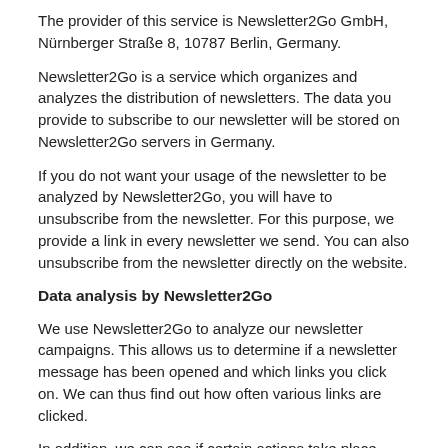The provider of this service is Newsletter2Go GmbH, Nürnberger Straße 8, 10787 Berlin, Germany.
Newsletter2Go is a service which organizes and analyzes the distribution of newsletters. The data you provide to subscribe to our newsletter will be stored on Newsletter2Go servers in Germany.
If you do not want your usage of the newsletter to be analyzed by Newsletter2Go, you will have to unsubscribe from the newsletter. For this purpose, we provide a link in every newsletter we send. You can also unsubscribe from the newsletter directly on the website.
Data analysis by Newsletter2Go
We use Newsletter2Go to analyze our newsletter campaigns. This allows us to determine if a newsletter message has been opened and which links you click on. We can thus find out how often various links are clicked.
In addition, we can see if certain actions take place after clicking on said links (conversion rate). We can thus determine whether the clicking of a link in a newsletter has led to a purchase, for example.
Newsletter2Go also allows us to classify newsletter recipients into different categories (clustering). For